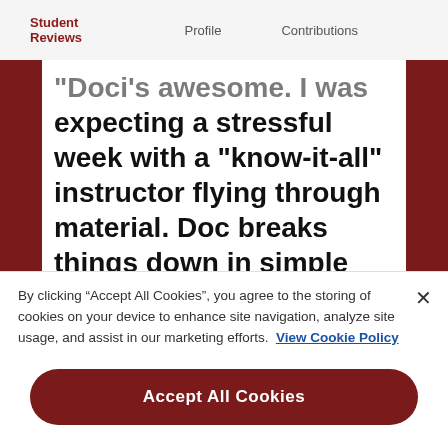Student Reviews   Profile   Contributions
"Doci's awesome. I was expecting a stressful week with a "know-it-all" instructor flying through material. Doc breaks things down in simple terms and makes the lectures
By clicking “Accept All Cookies”, you agree to the storing of cookies on your device to enhance site navigation, analyze site usage, and assist in our marketing efforts.  View Cookie Policy
Accept All Cookies
Cookies Settings